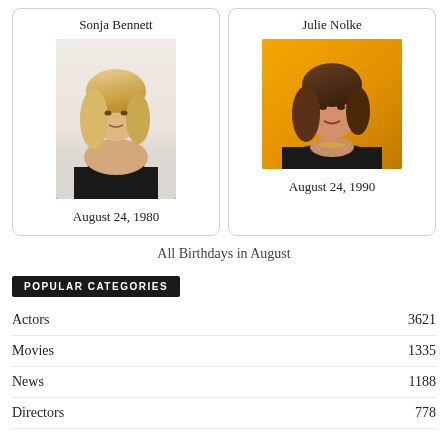Sonja Bennett
[Figure (photo): Photo of Sonja Bennett, a blonde woman in a black strapless top]
August 24, 1980
Julie Nolke
[Figure (photo): Photo of Julie Nolke, a woman with brown hair against a yellow/orange background]
August 24, 1990
All Birthdays in August
POPULAR CATEGORIES
Actors 3621
Movies 1335
News 1188
Directors 778